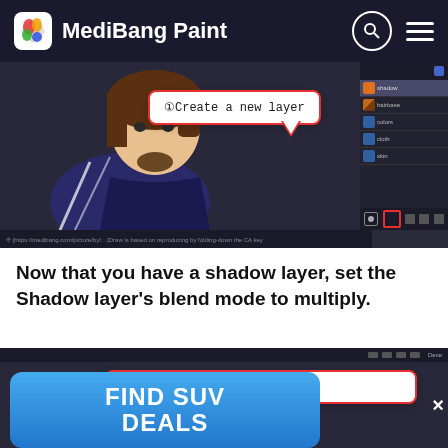MediBang Paint
[Figure (screenshot): Screenshot of MediBang Paint showing an anime character being drawn, with a callout box saying '①Create a new layer' pointing to the layers panel. The layers panel shows several layers including hairbase, colors, cloth, shadow.]
Now that you have a shadow layer, set the Shadow layer's blend mode to multiply.
[Figure (screenshot): Screenshot of MediBang Paint showing an anime character with brown hair, with a callout box saying 'Switch the layer to multiply' and a close button (×). An advertisement banner overlays the bottom portion reading 'FIND SUV DEALS'.]